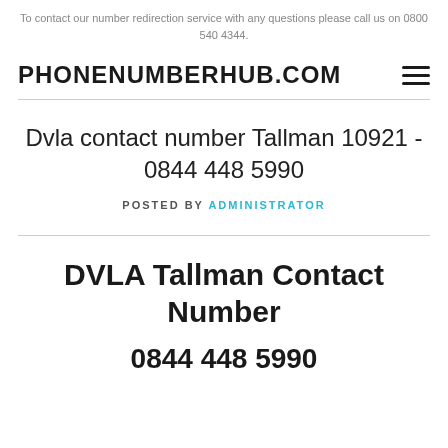To contact our number redirection service with any questions please call us on 0800 540 4344.
PHONENUMBERHUB.COM
Dvla contact number Tallman 10921 - 0844 448 5990
POSTED BY ADMINISTRATOR
DVLA Tallman Contact Number
0844 448 5990